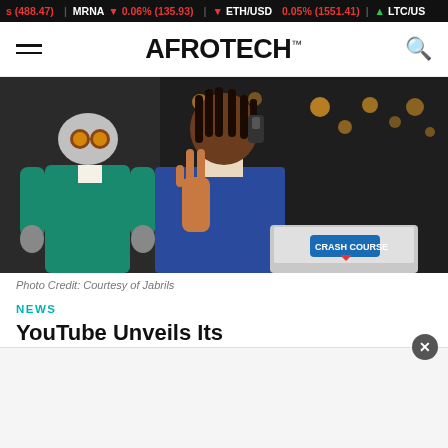s (488.47) | MRNA 0.06% (135.93) | ETH/USD 0.05% (1551.41) | LTC/US
AFROTECH™
[Figure (photo): A man in a blue jacket making a peace sign with his hand, seated at a desk with a laptop bearing a 'Crash Course' sticker, beside a robot costume character in a teal shirt, against a dark background with bokeh lights]
Photo Credit: Courtesy of Jabrils
NEWS
YouTube Unveils Its #YouTubeBlackVoices Grant Recipients to Celebrate Today's Innovative Creators